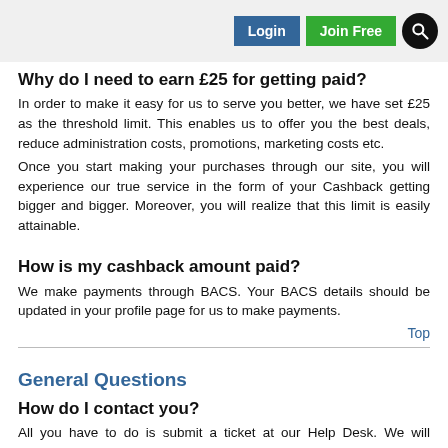Login | Join Free | Search
Why do I need to earn £25 for getting paid?
In order to make it easy for us to serve you better, we have set £25 as the threshold limit. This enables us to offer you the best deals, reduce administration costs, promotions, marketing costs etc.
Once you start making your purchases through our site, you will experience our true service in the form of your Cashback getting bigger and bigger. Moreover, you will realize that this limit is easily attainable.
How is my cashback amount paid?
We make payments through BACS. Your BACS details should be updated in your profile page for us to make payments.
Top
General Questions
How do I contact you?
All you have to do is submit a ticket at our Help Desk. We will respond to your query within 24 hours on weekdays.